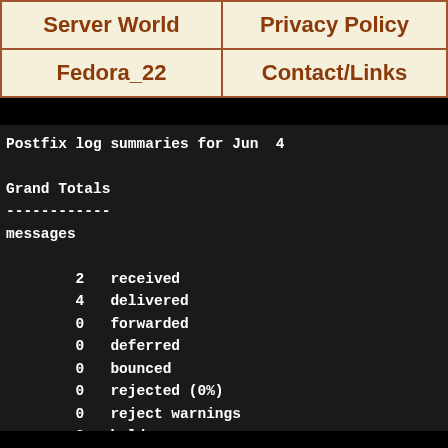| Server World | Privacy Policy |
| --- | --- |
| Fedora_22 | Contact/Links |
Postfix log summaries for Jun  4

Grand Totals
------------
messages

        2   received
        4   delivered
        0   forwarded
        0   deferred
        0   bounced
        0   rejected (0%)
        0   reject warnings
        0   held
        0   discarded (0%)

     2897   bytes received
     5348   bytes delivered
        2   senders